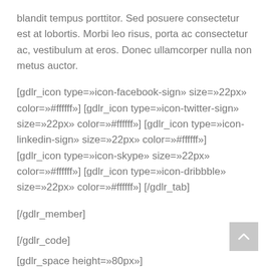blandit tempus porttitor. Sed posuere consectetur est at lobortis. Morbi leo risus, porta ac consectetur ac, vestibulum at eros. Donec ullamcorper nulla non metus auctor.
[gdlr_icon type=»icon-facebook-sign» size=»22px» color=»#ffffff»] [gdlr_icon type=»icon-twitter-sign» size=»22px» color=»#ffffff»] [gdlr_icon type=»icon-linkedin-sign» size=»22px» color=»#ffffff»] [gdlr_icon type=»icon-skype» size=»22px» color=»#ffffff»] [gdlr_icon type=»icon-dribbble» size=»22px» color=»#ffffff»] [/gdlr_tab]
[/gdlr_member]
[/gdlr_code]
[gdlr_space height=»80px»]